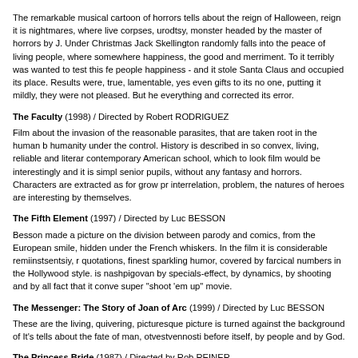The remarkable musical cartoon of horrors tells about the reign of Halloween, reign it is nightmares, where live corpses, urodtsy, monster headed by the master of horrors by J. Under Christmas Jack Skellington randomly falls into the peace of living people, where somewhere happiness, the good and merriment. To it terribly was wanted to test this fe people happiness - and it stole Santa Claus and occupied its place. Results were, true, lamentable, yes even gifts to its no one, putting it mildly, they were not pleased. But he everything and corrected its error.
The Faculty (1998) / Directed by Robert RODRIGUEZ
Film about the invasion of the reasonable parasites, that are taken root in the human b humanity under the control. History is described in so convex, living, reliable and literar contemporary American school, which to look film would be interestingly and it is simpl senior pupils, without any fantasy and horrors. Characters are extracted as for grow pr interrelation, problem, the natures of heroes are interesting by themselves.
The Fifth Element (1997) / Directed by Luc BESSON
Besson made a picture on the division between parody and comics, from the European smile, hidden under the French whiskers. In the film it is considerable remiinstsentsiy, r quotations, finest sparkling humor, covered by farcical numbers in the Hollywood style. is nashpigovan by specials-effect, by dynamics, by shooting and by all fact that it conve super "shoot 'em up" movie.
The Messenger: The Story of Joan of Arc (1999) / Directed by Luc BESSON
These are the living, quivering, picturesque picture is turned against the background of It's tells about the fate of man, otvestvennosti before itself, by people and by God.
The Princess Bride (1987) / Directed by Rob REINER